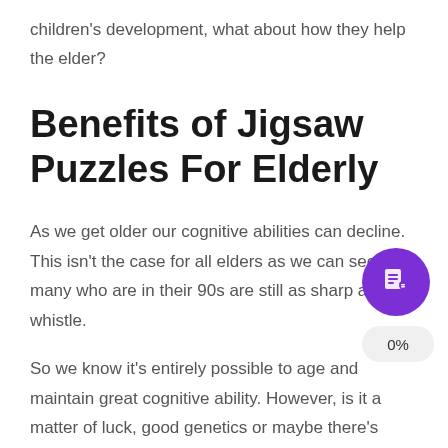children's development, what about how they help the elder?
Benefits of Jigsaw Puzzles For Elderly
As we get older our cognitive abilities can decline. This isn't the case for all elders as we can see many who are in their 90s are still as sharp as a whistle.
So we know it's entirely possible to age and maintain great cognitive ability. However, is it a matter of luck, good genetics or maybe there's